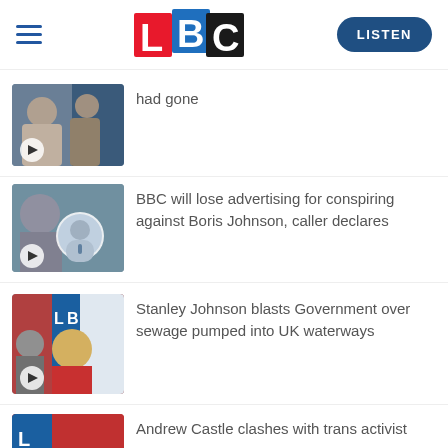LBC — LISTEN
[Figure (screenshot): Thumbnail of news story with play button — first item (had gone)]
had gone
[Figure (screenshot): Thumbnail of news story with play button — BBC advertising story]
BBC will lose advertising for conspiring against Boris Johnson, caller declares
[Figure (screenshot): Thumbnail of news story with play button — Stanley Johnson story]
Stanley Johnson blasts Government over sewage pumped into UK waterways
[Figure (screenshot): Thumbnail of news story — Andrew Castle story (partially visible)]
Andrew Castle clashes with trans activist over